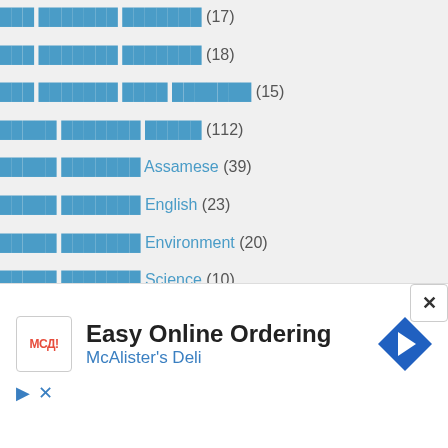███ ███████ ███████ (17)
███ ███████ ███████ (18)
███ ███████ ████ ███████ (15)
█████ ███████ █████ (112)
█████ ███████ Assamese (39)
█████ ███████ English (23)
█████ ███████ Environment (20)
█████ ███████ Science (10)
█████ ███████ Social (19)
█████ ███████ █████ (177)
[Figure (other): Advertisement banner for McAlister's Deli Easy Online Ordering with logo and arrow icon, close button]